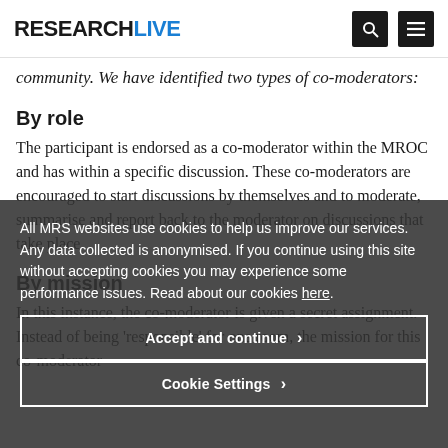RESEARCHLIVE
community. We have identified two types of co-moderators:
By role
The participant is endorsed as a co-moderator within the MROC and has within a specific discussion. These co-moderators are encouraged to start discussions by themselves and to moderate, summarise and report back to the moderator on discussions that take place.
By mission
In this instance, the co-moderator is given a secret assignment. Instead of being 'responsible' for one room, the mission for this co-moderator
All MRS websites use cookies to help us improve our services. Any data collected is anonymised. If you continue using this site without accepting cookies you may experience some performance issues. Read about our cookies here.
Accept and continue
Cookie Settings